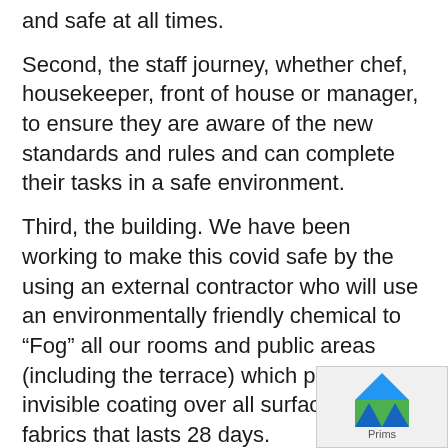and safe at all times.
Second, the staff journey, whether chef, housekeeper, front of house or manager, to ensure they are aware of the new standards and rules and can complete their tasks in a safe environment.
Third, the building. We have been working to make this covid safe by the using an external contractor who will use an environmentally friendly chemical to “Fog” all our rooms and public areas (including the terrace) which puts an invisible coating over all surfaces, even fabrics that lasts 28 days.
We have purchased PPE for staff and training plans have been implemented. We have implemented digital signage in pla... with sanitizing stations at the entrance and